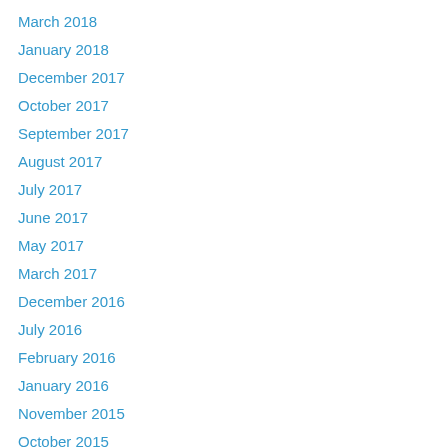March 2018
January 2018
December 2017
October 2017
September 2017
August 2017
July 2017
June 2017
May 2017
March 2017
December 2016
July 2016
February 2016
January 2016
November 2015
October 2015
August 2015
July 2015
June 2015
May 2015